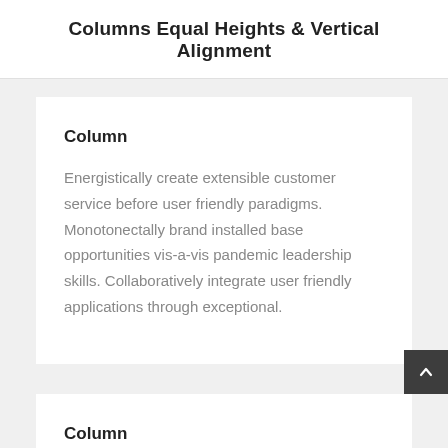Columns Equal Heights & Vertical Alignment
Column
Energistically create extensible customer service before user friendly paradigms. Monotonectally brand installed base opportunities vis-a-vis pandemic leadership skills. Collaboratively integrate user friendly applications through exceptional.
Column